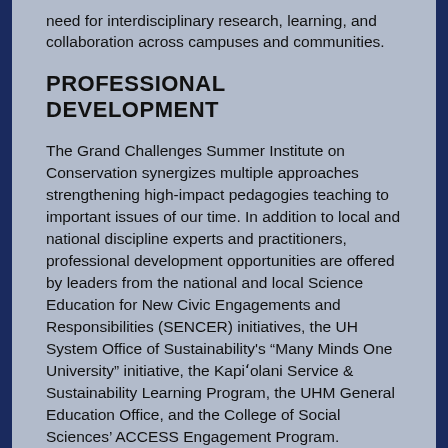need for interdisciplinary research, learning, and collaboration across campuses and communities.
PROFESSIONAL DEVELOPMENT
The Grand Challenges Summer Institute on Conservation synergizes multiple approaches strengthening high-impact pedagogies teaching to important issues of our time. In addition to local and national discipline experts and practitioners, professional development opportunities are offered by leaders from the national and local Science Education for New Civic Engagements and Responsibilities (SENCER) initiatives, the UH System Office of Sustainability’s “Many Minds One University” initiative, the Kapi‘olani Service & Sustainability Learning Program, the UHM General Education Office, and the College of Social Sciences’ ACCESS Engagement Program. Completion certificates and letters of documentation are available upon request. Participants will have an opportunity to design with